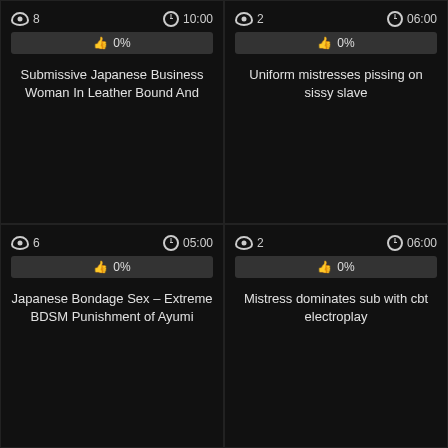[Figure (screenshot): Video thumbnail card top-left: views=8, duration=10:00, likes=0%, title='Submissive Japanese Business Woman In Leather Bound And']
[Figure (screenshot): Video thumbnail card top-right: views=2, duration=06:00, likes=0%, title='Uniform mistresses pissing on sissy slave']
[Figure (screenshot): Video thumbnail card bottom-left: views=6, duration=05:00, likes=0%, title='Japanese Bondage Sex – Extreme BDSM Punishment of Ayumi']
[Figure (screenshot): Video thumbnail card bottom-right: views=2, duration=06:00, likes=0%, title='Mistress dominates sub with cbt electroplay']